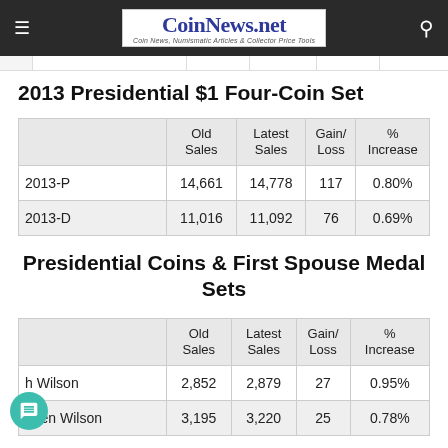CoinNews.net — Coin News, Numismatic Articles & Collector Price Tools
2013 Presidential $1 Four-Coin Set
|  | Old Sales | Latest Sales | Gain/ Loss | % Increase |
| --- | --- | --- | --- | --- |
| 2013-P | 14,661 | 14,778 | 117 | 0.80% |
| 2013-D | 11,016 | 11,092 | 76 | 0.69% |
Presidential Coins & First Spouse Medal Sets
|  | Old Sales | Latest Sales | Gain/ Loss | % Increase |
| --- | --- | --- | --- | --- |
| h Wilson | 2,852 | 2,879 | 27 | 0.95% |
| Ellen Wilson | 3,195 | 3,220 | 25 | 0.78% |